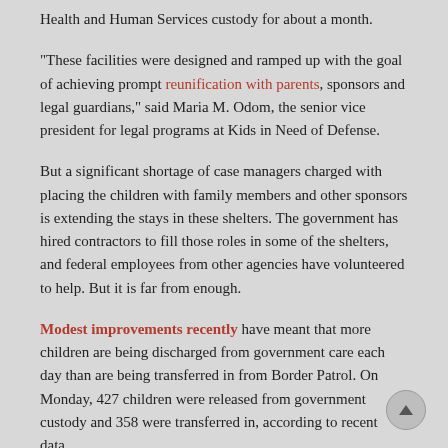Health and Human Services custody for about a month.
"These facilities were designed and ramped up with the goal of achieving prompt reunification with parents, sponsors and legal guardians," said Maria M. Odom, the senior vice president for legal programs at Kids in Need of Defense.
But a significant shortage of case managers charged with placing the children with family members and other sponsors is extending the stays in these shelters. The government has hired contractors to fill those roles in some of the shelters, and federal employees from other agencies have volunteered to help. But it is far from enough.
Modest improvements recently have meant that more children are being discharged from government care each day than are being transferred in from Border Patrol. On Monday, 427 children were released from government custody and 358 were transferred in, according to recent data.